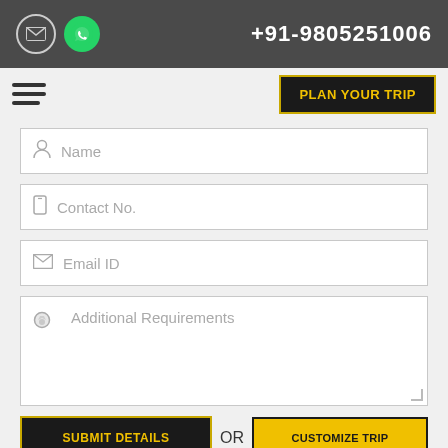+91-9805251006
PLAN YOUR TRIP
Name
Contact No.
Email ID
Additional Requirements
SUBMIT DETAILS
OR
CUSTOMIZE TRIP